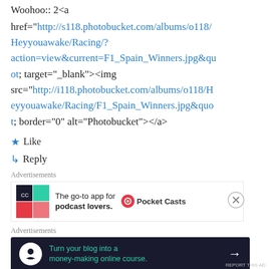Woohoo:: 2<a href="http://s118.photobucket.com/albums/o118/Heyyouawake/Racing/?action=view&current=F1_Spain_Winners.jpg&quot; target="_blank"><img src="http://i118.photobucket.com/albums/o118/Heyyouawake/Racing/F1_Spain_Winners.jpg&quot; border="0" alt="Photobucket"></a>
★ Like
↳ Reply
Advertisements
[Figure (screenshot): Pocket Casts advertisement: 'The go-to app for podcast lovers.' with Pocket Casts logo]
Advertisements
[Figure (screenshot): Dark advertisement: 'Turn your blog into a money-making online course.' with arrow button]